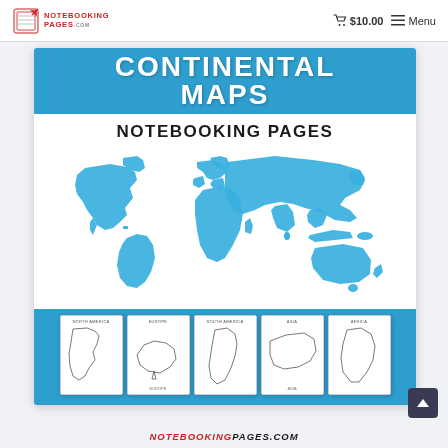NOTEBOOKING PAGES  🛒 $10.00  ≡ Menu
CONTINENTAL MAPS
NOTEBOOKING PAGES
[Figure (map): Blue world map showing all continents on white background, silhouette style in blue (#2e9ece)]
[Figure (illustration): Five small thumbnail images of continental outline map pages: North America, Europe, South America, Asia, Africa]
NOTEBOOKINGPAGES.COM